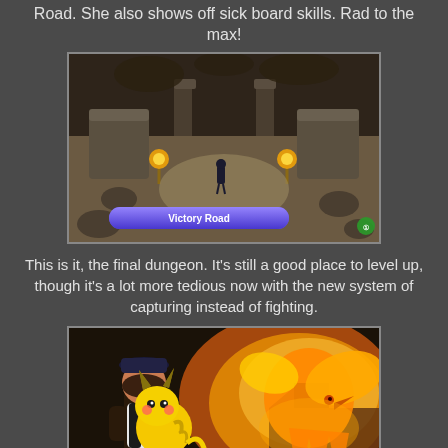Road. She also shows off sick board skills. Rad to the max!
[Figure (screenshot): Pokemon game screenshot showing Victory Road dungeon interior with stone structures, torches, and a character in the center. A location banner reads 'Victory Road' at the bottom.]
This is it, the final dungeon. It's still a good place to level up, though it's a lot more tedious now with the new system of capturing instead of fighting.
[Figure (screenshot): Pokemon Let's Go game screenshot showing a female trainer with Pikachu on her back facing a large glowing orange bird Pokemon (likely Moltres) in a dramatic encounter scene.]